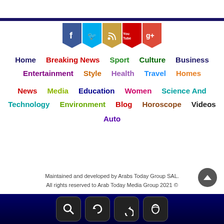[Figure (other): Social media bookmark icons: Facebook (blue), Twitter (cyan), RSS (tan/gold), YouTube (red), Google+ (red)]
Home | Breaking News | Sport | Culture | Business
Entertainment | Style | Health | Travel | Homes
News | Media | Education | Women | Science And
Technology | Environment | Blog | Horoscope | Videos
Auto
Maintained and developed by Arabs Today Group SAL.
All rights reserved to Arab Today Media Group 2021 ©
Bottom navigation bar with search, refresh, back, and phone icons